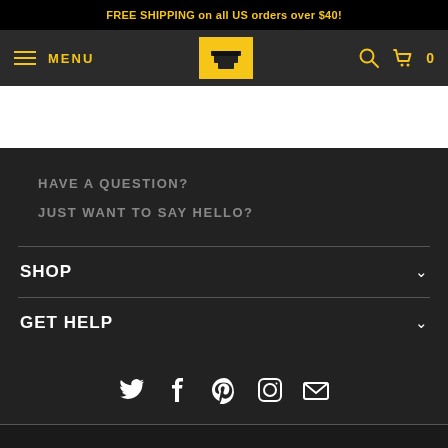FREE SHIPPING on all US orders over $40!
[Figure (screenshot): Navigation bar with hamburger menu (MENU), Mountainsmith logo (anvil icon on yellow background), search icon, and cart icon with 0 count]
HAVE A QUESTION?
JUST WANT TO SAY HELLO?
SHOP
GET HELP
[Figure (infographic): Social media icons row: Twitter bird, Facebook f, Pinterest P, Instagram camera, Email envelope]